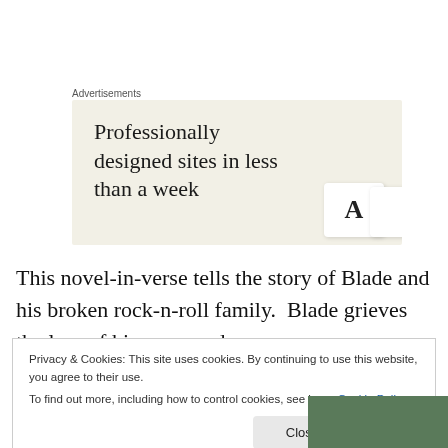Advertisements
[Figure (illustration): Advertisement banner with beige background showing text 'Professionally designed sites in less than a week' with card/design mockup images on the right]
This novel-in-verse tells the story of Blade and his broken rock-n-roll family.  Blade grieves the loss of his mom and
Privacy & Cookies: This site uses cookies. By continuing to use this website, you agree to their use.
To find out more, including how to control cookies, see here: Cookie Policy
Close and accept
[Figure (photo): Partial photo visible at bottom right corner showing a person]